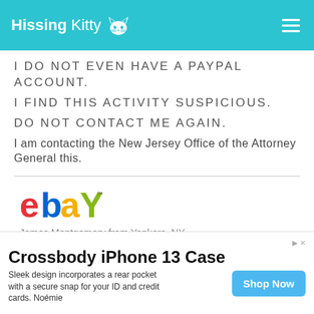HissingKitty
I DO NOT EVEN HAVE A PAYPAL ACCOUNT.
I FIND THIS ACTIVITY SUSPICIOUS.
DO NOT CONTACT ME AGAIN.
I am contacting the New Jersey Office of the Attorney General this.
[Figure (logo): eBay logo]
James Montgomery from Yonkers, NY
May 01, 2019
Crossbody iPhone 13 Case
Sleek design incorporates a rear pocket with a secure snap for your ID and credit cards. Noémie